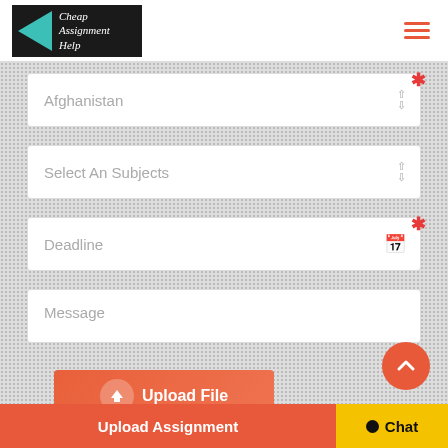[Figure (logo): Cheap Assignment Help logo with teal triangle and text on dark background]
Afghanistan
Select An Subjects
Deadline
Message
Upload File
Upload Assignment
Chat